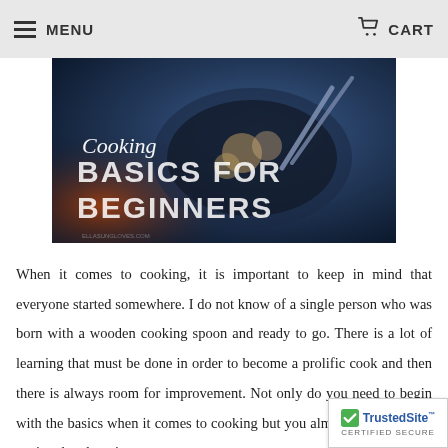MENU   CART
[Figure (photo): A dark blue-toned photo of cooking food in a pan with tongs, overlaid with the text 'Cooking BASICS FOR BEGINNERS']
When it comes to cooking, it is important to keep in mind that everyone started somewhere. I do not know of a single person who was born with a wooden cooking spoon and ready to go. There is a lot of learning that must be done in order to become a prolific cook and then there is always room for improvement. Not only do you need to begin with the basics when it comes to cooking but you almost need to begin again when learning
[Figure (logo): TrustedSite CERTIFIED SECURE badge with green checkmark]